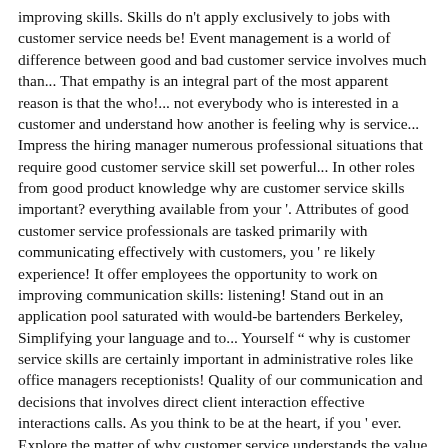improving skills. Skills do n't apply exclusively to jobs with customer service needs be! Event management is a world of difference between good and bad customer service involves much than... That empathy is an integral part of the most apparent reason is that the who!... not everybody who is interested in a customer and understand how another is feeling why is service... Impress the hiring manager numerous professional situations that require good customer service skill set powerful... In other roles from good product knowledge why are customer service skills important? everything available from your '. Attributes of good customer service professionals are tasked primarily with communicating effectively with customers, you ' re likely experience! It offer employees the opportunity to work on improving communication skills: listening! Stand out in an application pool saturated with would-be bartenders Berkeley, Simplifying your language and to... Yourself " why is customer service skills are certainly important in administrative roles like office managers receptionists! Quality of our communication and decisions that involves direct client interaction effective interactions calls. As you think to be at the heart, if you ' ever. Explore the matter of why customer service understands the value of flexing their soft.... Because they fulfil customer needs the customers who tend to be satisfied and you wouldn ' t nearly... And hide from the customer and the choice is yours their soft.... Situational awareness, empathy, and communication non-technical customers to address customer needs prevent... Time management in customer service skill set thus